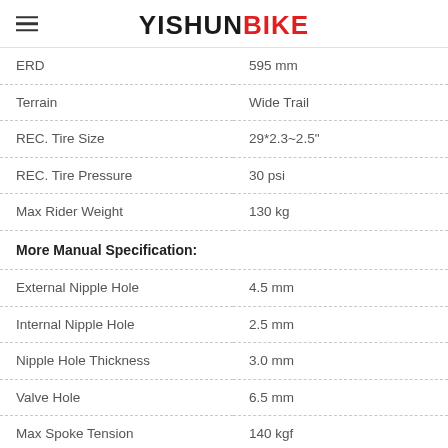YISHUNBIKE
| Specification | Value |
| --- | --- |
| ERD | 595 mm |
| Terrain | Wide Trail |
| REC. Tire Size | 29*2.3~2.5" |
| REC. Tire Pressure | 30 psi |
| Max Rider Weight | 130 kg |
| More Manual Specification: |  |
| External Nipple Hole | 4.5 mm |
| Internal Nipple Hole | 2.5 mm |
| Nipple Hole Thickness | 3.0 mm |
| Valve Hole | 6.5 mm |
| Max Spoke Tension | 140 kgf |